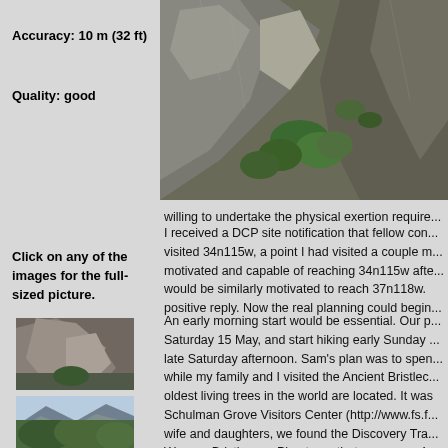Accuracy: 10 m (32 ft)
Quality: good
[Figure (photo): Aerial or landscape view of rocky mountain canyon with green trees]
Click on any of the images for the full-sized picture.
willing to undertake the physical exertion require...
I received a DCP site notification that fellow con... visited 34n115w, a point I had visited a couple m... motivated and capable of reaching 34n115w afte... would be similarly motivated to reach 37n118w. positive reply. Now the real planning could begin...
An early morning start would be essential. Our p... Saturday 15 May, and start hiking early Sunday ... late Saturday afternoon. Sam's plan was to spen... while my family and I visited the Ancient Bristlec... oldest living trees in the world are located. It was Schulman Grove Visitors Center (http://www.fs.f... wife and daughters, we found the Discovery Tra... We saw Bristlecone Pine trees that were over 4,... to the Patriarch Grove, the road was closed with... short of Patriarch grove (we were at almost 11,0... for lunch at an overlook with a tremendous view ... 6,000 vertical feet below.
[Figure (photo): Rocky mountain cliff face thumbnail]
[Figure (photo): Mountain valley with sky thumbnail]
[Figure (photo): Green shrub or tree close-up thumbnail]